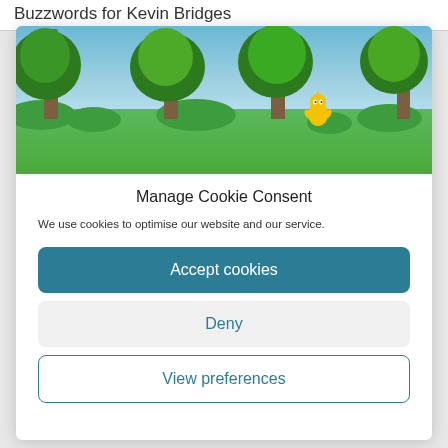Buzzwords for Kevin Bridges
[Figure (screenshot): Screenshot of a Teletubbies scene showing green hills, trees with white blossoms, blue sky, and a yellow Teletubby character in the foreground]
Manage Cookie Consent
We use cookies to optimise our website and our service.
Accept cookies
Deny
View preferences